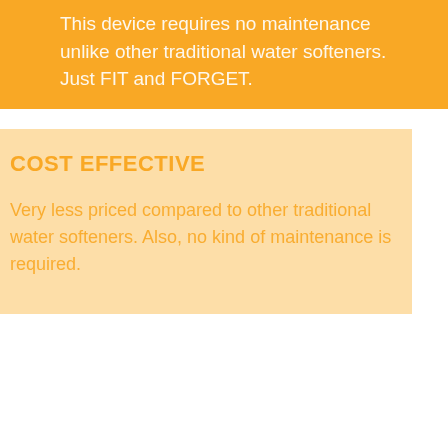This device requires no maintenance unlike other traditional water softeners. Just FIT and FORGET.
COST EFFECTIVE
Very less priced compared to other traditional water softeners. Also, no kind of maintenance is required.